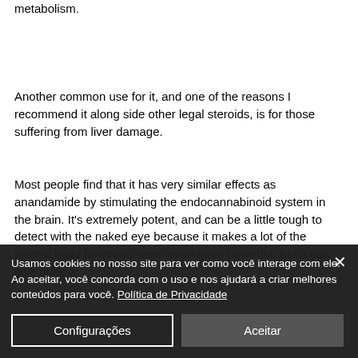along with another legal steroid to speed the metabolism.
Another common use for it, and one of the reasons I recommend it along side other legal steroids, is for those suffering from liver damage.
Most people find that it has very similar effects as anandamide by stimulating the endocannabinoid system in the brain. It's extremely potent, and can be a little tough to detect with the naked eye because it makes a lot of the normal body functions seem even more powerful. But it can give quite a
Usamos cookies no nosso site para ver como você interage com ele. Ao aceitar, você concorda com o uso e nos ajudará a criar melhores conteúdos para você. Política de Privacidade
Configurações
Aceitar